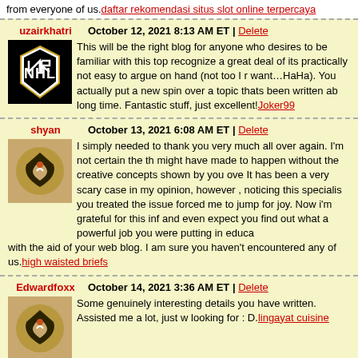from everyone of us. daftar rekomendasi situs slot online terpercaya
uzairkhatri | October 12, 2021 8:13 AM ET | Delete — This will be the right blog for anyone who desires to be familiar with this topic. You recognize a great deal of its practically not easy to argue on hand (not too I really would want…HaHa). You actually put a new spin over a topic thats been written about for a long time. Fantastic stuff, just excellent! Joker99
shyan | October 13, 2021 6:08 AM ET | Delete — I simply needed to thank you very much all over again. I'm not certain the things that might have made to happen without the creative concepts shown by you over such a topic. It has been a very scary case in my opinion, however , noticing this specialist way you treated the issue forced me to jump for joy. Now i'm grateful for this information and even expect you find out what a powerful job you were putting in educating with the aid of your web blog. I am sure you haven't encountered any of us. high waisted briefs
Edwardfoxx | October 14, 2021 3:36 AM ET | Delete — Some genuinely interesting details you have written. Assisted me a lot, just what I was looking for : D. lingayat cuisine
huzamshaikh21 | October 14, 2021 3:49 AM ET | Delete — I {keep|cling on to|carry on} listening to the {news|reports|newscast|news bu… update|rumor|news broadcast} {speak|talk|lecture} about {getting|receiving